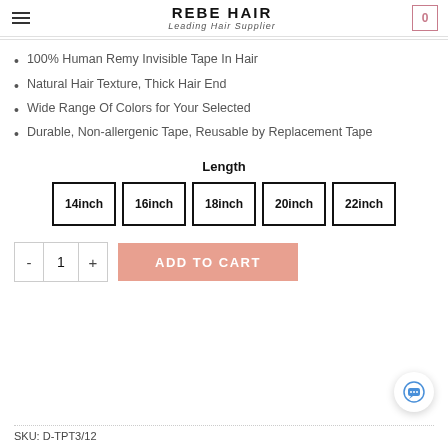REBE HAIR – Leading Hair Supplier
100% Human Remy Invisible Tape In Hair
Natural Hair Texture, Thick Hair End
Wide Range Of Colors for Your Selected
Durable, Non-allergenic Tape, Reusable by Replacement Tape
Length
[Figure (other): Size selector buttons showing 14inch, 16inch, 18inch, 20inch, 22inch]
- 1 + ADD TO CART
SKU: D-TPT3/12